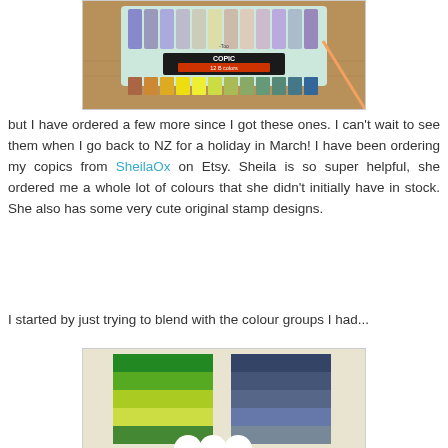[Figure (photo): Photo of a Copic 12B colors marker set in a plastic tray on a wooden surface]
but I have ordered a few more since I got these ones.  I can't wait to see them when I go back to NZ for a holiday in March!  I have been ordering my copics from SheilaOx on Etsy.    Sheila is so super helpful, she ordered me a whole lot of colours that she didn't initially have in stock.  She also has some very cute original stamp designs.
I started by just trying to blend with the colour groups I had...
[Figure (photo): Photo showing color blending swatches with green tones on left and blue-grey tones on right, with a partial white stamped flower design at the bottom]